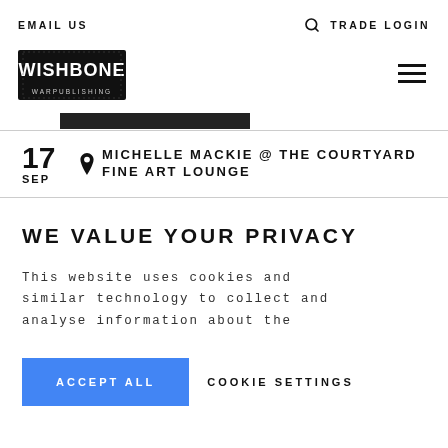EMAIL US   🔍 TRADE LOGIN
[Figure (logo): Wishbone Publishing logo — distressed black rectangle with white text WISHBONE and smaller text below]
17 SEP   📍 MICHELLE MACKIE @ THE COURTYARD FINE ART LOUNGE
WE VALUE YOUR PRIVACY
This website uses cookies and similar technology to collect and analyse information about the
ACCEPT ALL   COOKIE SETTINGS